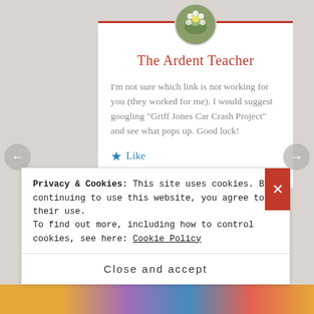The Ardent Teacher
I'm not sure which link is not working for you (they worked for me). I would suggest googling "Griff Jones Car Crash Project" and see what pops up. Good luck!
Like
SEPTEMBER 11, 2017 AT 4:02 PM
Privacy & Cookies: This site uses cookies. By continuing to use this website, you agree to their use.
To find out more, including how to control cookies, see here: Cookie Policy
Close and accept